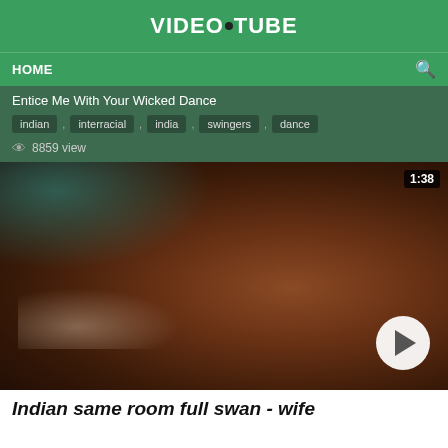VIDEO•TUBE
HOME
Entice Me With Your Wicked Dance
indian , interracial , india , swingers , dance
8859 view
[Figure (screenshot): Video thumbnail showing a blurred close-up image with a dark brownish-red tone and teal background hints, with a timestamp overlay of 1:38 in the top right and a white circular play button in the bottom right.]
Indian same room full swan - wife